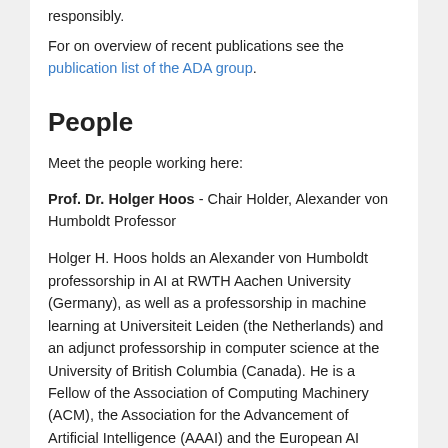For on overview of recent publications see the publication list of the ADA group.
People
Meet the people working here:
Prof. Dr. Holger Hoos - Chair Holder, Alexander von Humboldt Professor
Holger H. Hoos holds an Alexander von Humboldt professorship in AI at RWTH Aachen University (Germany), as well as a professorship in machine learning at Universiteit Leiden (the Netherlands) and an adjunct professorship in computer science at the University of British Columbia (Canada). He is a Fellow of the Association of Computing Machinery (ACM), the Association for the Advancement of Artificial Intelligence (AAAI) and the European AI Association (EurAI), past president of the Canadian Association for Artificial Intelligence and one of initiators of CLAIRE, an initiative by the European AI community that seeks to strengthen European excellence in AI research and innovation (claire-ai.org). Find out more on Holger's personal website.
Mail: hh[at]aim[dot]rwth-aachen[dot]de